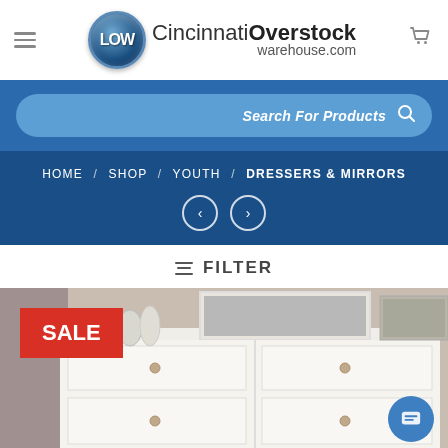[Figure (logo): CincinnatiOverstock warehouse.com logo with blue circle LOW badge, hamburger menu icon on left, cart icon on right]
Search For Products
HOME / SHOP / YOUTH / DRESSERS & MIRRORS
FILTER
[Figure (photo): White dresser with mirror product photo with red SALE badge in top left corner and blue chat button in bottom right]